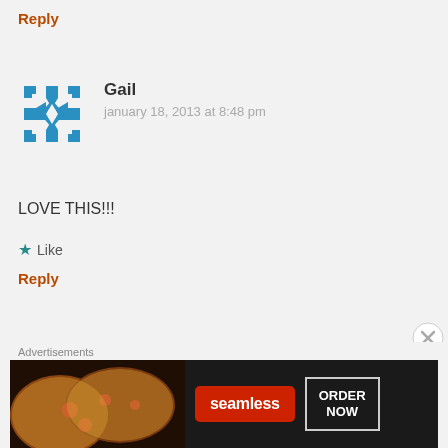Reply
[Figure (illustration): Teal geometric avatar icon for user Gail]
Gail
january 18, 2013 at 8:48 pm
LOVE THIS!!!
Like
Reply
[Figure (illustration): Teal geometric avatar icon for user Genevieve]
Genevieve
Advertisements
[Figure (photo): Seamless food delivery advertisement banner with pizza image, seamless logo, and ORDER NOW button]